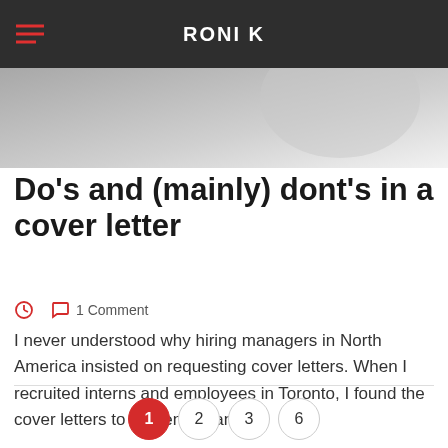RONI K
[Figure (photo): Blurred gray/white hero image at top of blog post]
Do’s and (mainly) dont’s in a cover letter
1 Comment
I never understood why hiring managers in North America insisted on requesting cover letters. When I recruited interns and employees in Toronto, I found the cover letters to be generic and...
Read More
1  2  3  6